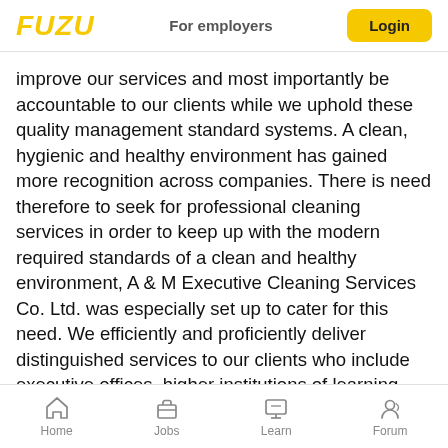FUZU   For employers   Login
improve our services and most importantly be accountable to our clients while we uphold these quality management standard systems. A clean, hygienic and healthy environment has gained more recognition across companies. There is need therefore to seek for professional cleaning services in order to keep up with the modern required standards of a clean and healthy environment, A & M Executive Cleaning Services Co. Ltd. was especially set up to cater for this need. We efficiently and proficiently deliver distinguished services to our clients who include executive offices, higher institutions of learning hospitals, shopping malls, foreign missions and residential. We use the most appropriate state of the art technology
Home   Jobs   Learn   Forum